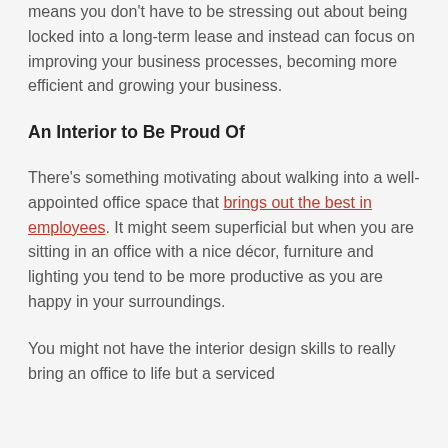means you don't have to be stressing out about being locked into a long-term lease and instead can focus on improving your business processes, becoming more efficient and growing your business.
An Interior to Be Proud Of
There's something motivating about walking into a well-appointed office space that brings out the best in employees. It might seem superficial but when you are sitting in an office with a nice décor, furniture and lighting you tend to be more productive as you are happy in your surroundings.
You might not have the interior design skills to really bring an office to life but a serviced